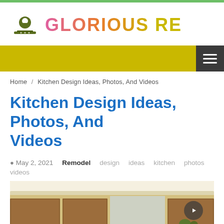[Figure (logo): Glorious RE logo with map pin icon and colorful gradient text]
[Figure (screenshot): Yellow navigation bar with dark hamburger menu button on the right]
Home / Kitchen Design Ideas, Photos, And Videos
Kitchen Design Ideas, Photos, And Videos
May 2, 2021   Remodel   design   ideas   kitchen   photos   videos
[Figure (photo): Partial view of a kitchen interior showing ceiling molding and cabinetry]